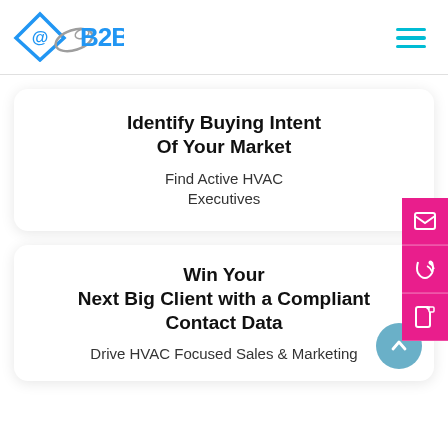[Figure (logo): @B2B logo with blue diamond and grey swoosh]
Identify Buying Intent Of Your Market
Find Active HVAC Executives
Win Your Next Big Client with a Compliant Contact Data
Drive HVAC Focused Sales & Marketing